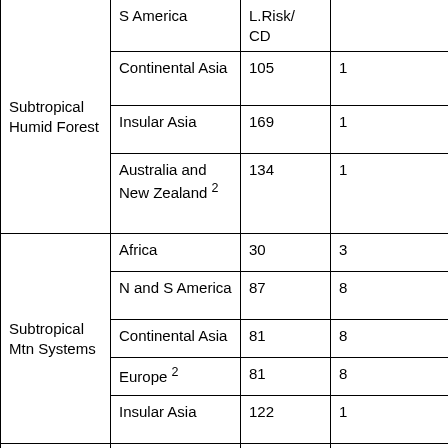| Biome | Region | Extinct (LRCD) | ... |
| --- | --- | --- | --- |
| Subtropical Humid Forest | S America |  |  |
| Subtropical Humid Forest | Continental Asia | 105 | 1... |
| Subtropical Humid Forest | Insular Asia | 169 | 1... |
| Subtropical Humid Forest | Australia and New Zealand 2 | 134 | 1... |
| Subtropical Mtn Systems | Africa | 30 | 3... |
| Subtropical Mtn Systems | N and S America | 87 | 8... |
| Subtropical Mtn Systems | Continental Asia | 81 | 8... |
| Subtropical Mtn Systems | Europe 2 | 81 | 8... |
| Subtropical Mtn Systems | Insular Asia | 122 | 1... |
| Subtropical Dry Forest | Africa | 84 | 8... |
| Subtropical Dry Forest | N and ... | 126 | 1... |